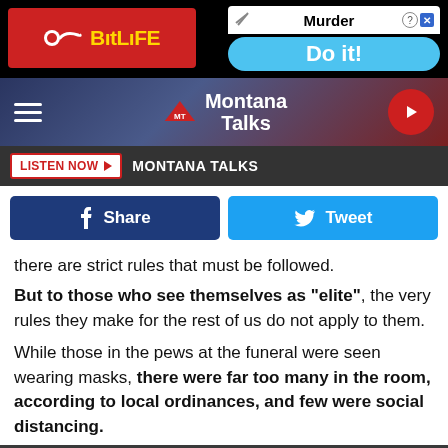[Figure (screenshot): Advertisement banner showing BitLife app ad and a 'Murder - Do it!' game ad on black background]
[Figure (screenshot): Montana Talks website navigation bar with hamburger menu, Montana Talks logo, and red play button]
[Figure (screenshot): Listen Now button bar with dark background showing 'LISTEN NOW' button and 'MONTANA TALKS' label]
[Figure (screenshot): Social sharing buttons: Facebook Share (dark blue) and Tweet (light blue)]
there are strict rules that must be followed.
But to those who see themselves as "elite", the very rules they make for the rest of us do not apply to them.
While those in the pews at the funeral were seen wearing masks, there were far too many in the room, according to local ordinances, and few were social distancing.
[Figure (photo): Photo of a crowd of people wearing masks at what appears to be a funeral, dressed in formal attire]